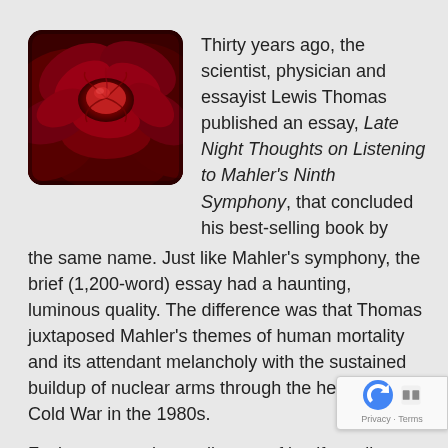[Figure (photo): Close-up photograph of a deep red rose with rounded corners, showing spiral petal pattern]
Thirty years ago, the scientist, physician and essayist Lewis Thomas published an essay, Late Night Thoughts on Listening to Mahler's Ninth Symphony, that concluded his best-selling book by the same name. Just like Mahler's symphony, the brief (1,200-word) essay had a haunting, luminous quality. The difference was that Thomas juxtaposed Mahler's themes of human mortality and its attendant melancholy with the sustained buildup of nuclear arms through the height of the Cold War in the 1980s.
Facing personal mortality can of itself entail a kind of somber acceptance and beauty, Thomas suggested, especially conveyed with the profundity of a great composer writing for an orchestra...